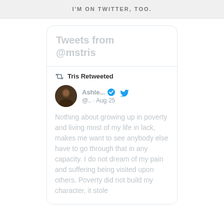I'M ON TWITTER, TOO.
Tweets from @mstris
Tris Retweeted
Ashle... @.. · Aug 25
Nothing about growing up in poverty and living most of my life in lack, makes me want to see anybody else have to go through that in any capacity. I do not dream of my pain and suffering being visited upon others. Poverty did not build my character, it stole